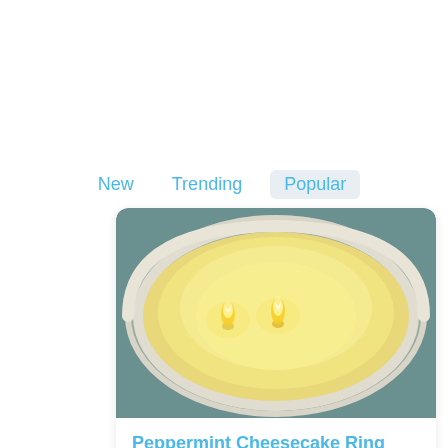New   Trending   Popular
[Figure (photo): Top-down view of a white circular candle with two lit wicks glowing with warm yellow flames, set against a teal-grey background]
Peppermint Cheesecake Ring Candle
by Jennifer Muirhead